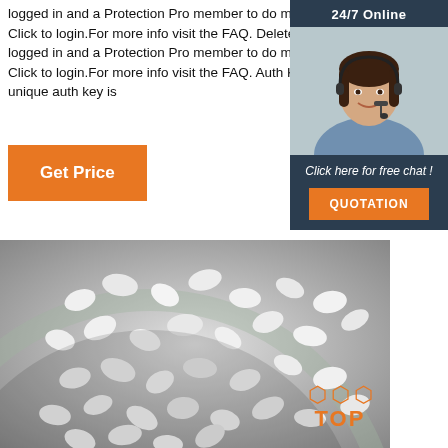logged in and a Protection Pro member to do manual rescans. Click to login.For more info visit the FAQ. Delete You must be logged in and a Protection Pro member to do manual deletions. Click to login.For more info visit the FAQ. Auth Key Certificate unique auth key is
[Figure (screenshot): 24/7 Online chat widget with agent photo, 'Click here for free chat!' text, and QUOTATION button]
[Figure (photo): White polymer pellets/pills in a glass bowl, grayscale photo]
Get Price